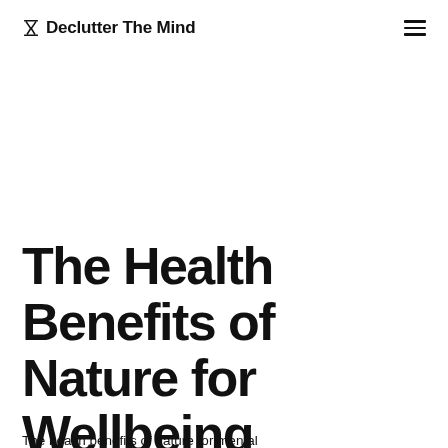⌛ Declutter The Mind
The Health Benefits of Nature for Wellbeing
The health benefits of nature for mental